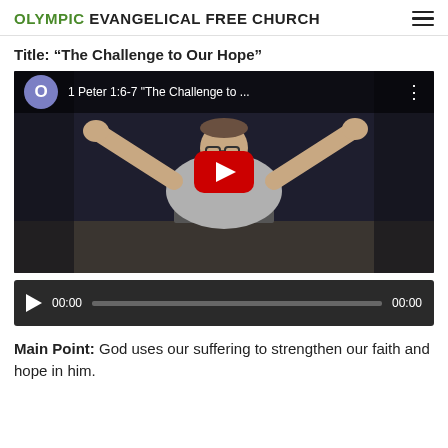OLYMPIC EVANGELICAL FREE CHURCH
Title:  “The Challenge to Our Hope”
[Figure (screenshot): YouTube video thumbnail showing a speaker with arms raised, with overlay text '1 Peter 1:6-7 "The Challenge to ...']
[Figure (screenshot): Audio player bar with play button, 00:00 elapsed time, progress bar, and 00:00 total time]
Main Point: God uses our suffering to strengthen our faith and hope in him.